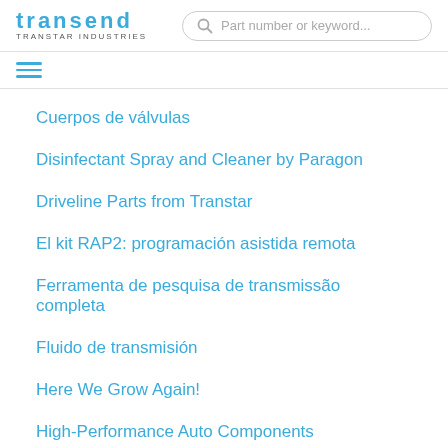transend TRANSTAR INDUSTRIES | Part number or keyword...
Cuerpos de válvulas
Disinfectant Spray and Cleaner by Paragon
Driveline Parts from Transtar
El kit RAP2: programación asistida remota
Ferramenta de pesquisa de transmissão completa
Fluido de transmisión
Here We Grow Again!
High-Performance Auto Components
Hybrid Batteries